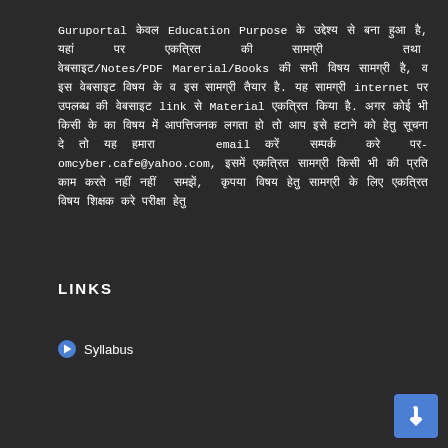Guruportal केवल Education Purpose के उद्देश्य से बना हुआ है, यहां पर एकत्रित की सामग्री तथा वेबसाइट/Notes/PDF Marerial/Books की सभी विषय सामग्री है, व इस वेबसाइट विषय के व इस सामग्री तैयार है. यह सामग्री internet पर उपलब्ध की वेबसाइट link से Material एकत्रित किया है. अगर कोई भी किसी के का विषय में आपत्तिजनक लगता हो तो आप इसे हटाने को हेतु सूचना दे तो यह हमारा email करें सम्पर्क करे पर-omcyber.cafe@yahoo.com, इसमें एकत्रित सामग्री किसी भी की प्रति काम करते नहीं समझें, कृपया विषय हेतु सामग्री के लिए एकत्रित विषय शिक्षक करे परीक्षा हेतु
LINKS
Syllabus